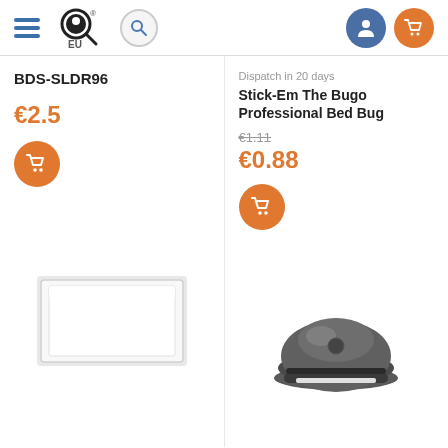[Figure (screenshot): E-commerce website header with hamburger menu, circular logo with magnifying glass and EU text, search icon, user account icon (blue circle), and shopping cart icon (orange circle)]
BDS-SLDR96
€2.5
Dispatch in 20 days
Stick-Em The Bugo Professional Bed Bug
€1.11
€0.88
[Figure (photo): White rectangular tray/sticky pad product image]
[Figure (photo): Gray dome-shaped Bugo professional bed bug detector product image]